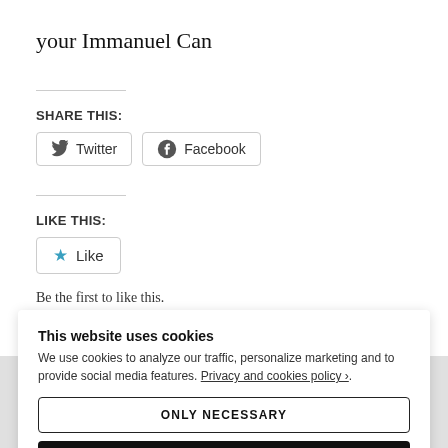your Immanuel Can
SHARE THIS:
Twitter  Facebook
LIKE THIS:
★ Like
Be the first to like this.
This website uses cookies
We use cookies to analyze our traffic, personalize marketing and to provide social media features. Privacy and cookies policy ›.
ONLY NECESSARY
ALLOW ALL COOKIES
CONFIGURE SETTINGS ›